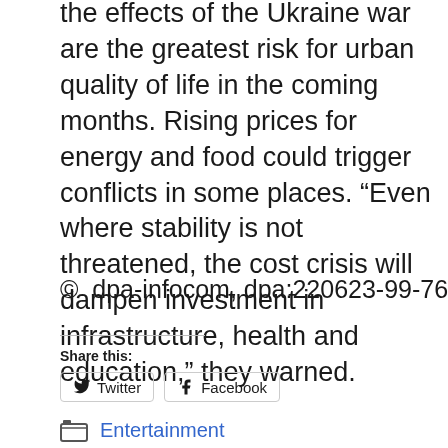the effects of the Ukraine war are the greatest risk for urban quality of life in the coming months. Rising prices for energy and food could trigger conflicts in some places. “Even where stability is not threatened, the cost crisis will dampen investment in infrastructure, health and education,” they warned.
© dpa-infocom, dpa:220623-99-768484/3
Share this:
Twitter
Facebook
Entertainment